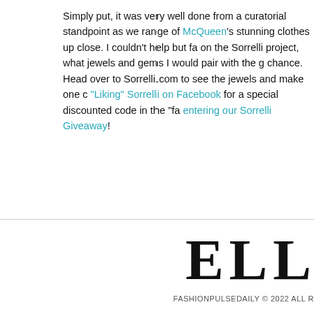Simply put, it was very well done from a curatorial standpoint as we... range of McQueen's stunning clothes up close. I couldn't help but fa... on the Sorrelli project, what jewels and gems I would pair with the g... chance. Head over to Sorrelli.com to see the jewels and make one c... "Liking" Sorrelli on Facebook for a special discounted code in the "fa... entering our Sorrelli Giveaway!
ELL  FASHIONPULSEDAILY © 2022 ALL R